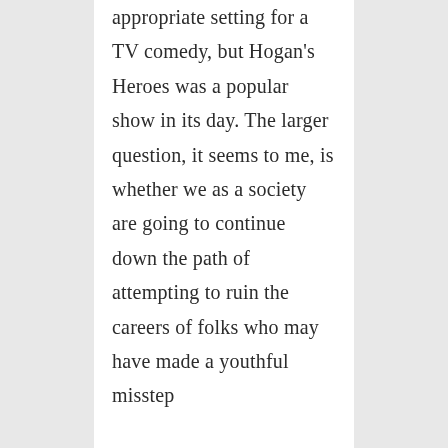appropriate setting for a TV comedy, but Hogan's Heroes was a popular show in its day. The larger question, it seems to me, is whether we as a society are going to continue down the path of attempting to ruin the careers of folks who may have made a youthful misstep